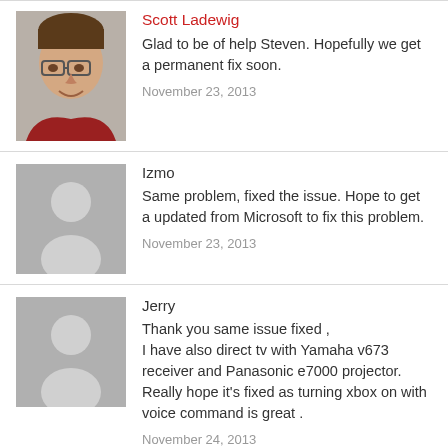[Figure (photo): Profile photo of Scott Ladewig, a man wearing glasses and a red shirt, smiling]
Scott Ladewig
Glad to be of help Steven. Hopefully we get a permanent fix soon.
November 23, 2013
[Figure (illustration): Generic gray silhouette avatar placeholder]
Izmo
Same problem, fixed the issue. Hope to get a updated from Microsoft to fix this problem.
November 23, 2013
[Figure (illustration): Generic gray silhouette avatar placeholder]
Jerry
Thank you same issue fixed ,
I have also direct tv with Yamaha v673 receiver and Panasonic e7000 projector. Really hope it's fixed as turning xbox on with voice command is great .
November 24, 2013